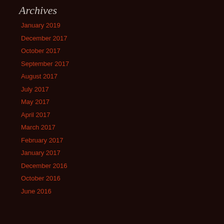Archives
January 2019
December 2017
October 2017
September 2017
August 2017
July 2017
May 2017
April 2017
March 2017
February 2017
January 2017
December 2016
October 2016
June 2016